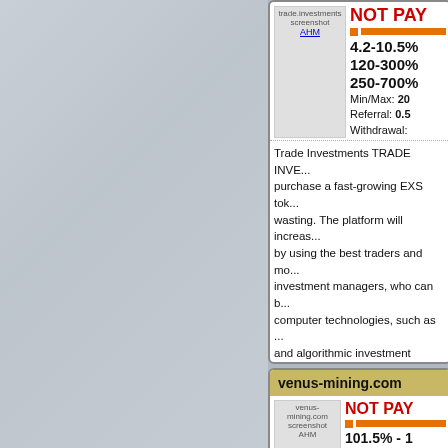[Figure (screenshot): Left panel with light gray/blue texture background]
[Figure (screenshot): trade.investments screenshot thumbnail labeled AHM]
NOT PAY
4.2-10.5%
120-300%
250-700%
Min/Max: 20
Referral: 0.5
Withdrawal:
Trade Investments TRADE INVE... purchase a fast-growing EXS tok... wasting. The platform will increas... by using the best traders and mo... investment managers, who can b... computer technologies, such as ... and algorithmic investment meth... investors to get the possibility of ... you to earn an hourly and reliable...
[Figure (logo): Perfect Money - WE ACCEPT logo]
[Figure (logo): Bitcoin logo]
[Figure (logo): SSL secured logo]
[Figure (logo): Partial green icon]
venus-mining.com
[Figure (screenshot): venus-mining.com screenshot thumbnail labeled AHM]
NOT PAY
101.5% - 1